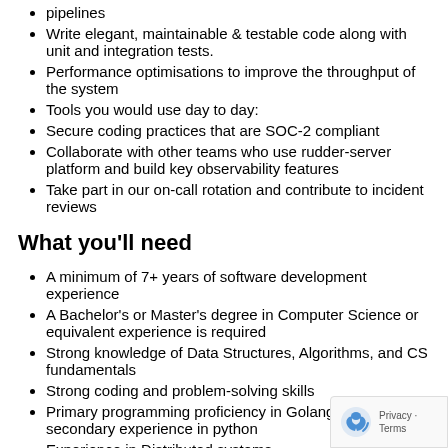pipelines
Write elegant, maintainable & testable code along with unit and integration tests.
Performance optimisations to improve the throughput of the system
Tools you would use day to day:
Secure coding practices that are SOC-2 compliant
Collaborate with other teams who use rudder-server platform and build key observability features
Take part in our on-call rotation and contribute to incident reviews
What you'll need
A minimum of 7+ years of software development experience
A Bachelor's or Master's degree in Computer Science or equivalent experience is required
Strong knowledge of Data Structures, Algorithms, and CS fundamentals
Strong coding and problem-solving skills
Primary programming proficiency in Golang in addition to secondary experience in python
Experience in Distributed systems
Strong understanding of SQL, No-SQL databases, distrib... queueing platforms like Kafka